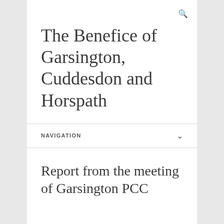The Benefice of Garsington, Cuddesdon and Horspath
NAVIGATION
Report from the meeting of Garsington PCC